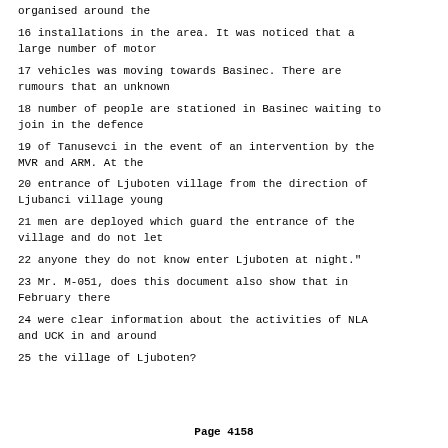organised around the
16 installations in the area. It was noticed that a large number of motor
17 vehicles was moving towards Basinec. There are rumours that an unknown
18 number of people are stationed in Basinec waiting to join in the defence
19 of Tanusevci in the event of an intervention by the MVR and ARM. At the
20 entrance of Ljuboten village from the direction of Ljubanci village young
21 men are deployed which guard the entrance of the village and do not let
22 anyone they do not know enter Ljuboten at night."
23 Mr. M-051, does this document also show that in February there
24 were clear information about the activities of NLA and UCK in and around
25 the village of Ljuboten?
Page 4158